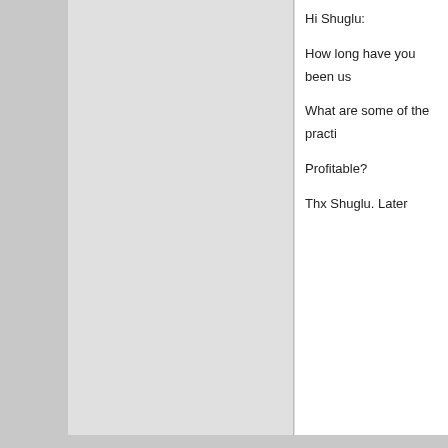Hi Shuglu:
How long have you been us
What are some of the practi
Profitable?
Thx Shuglu. Later
(login for full post details)
Silent warrior
Elite Member
Boston, MA
Experience: Advanced
Platform: NinjaTrader
Broker: Rithmic/IQFeed
Trading: ES, ZB, GC, 6E, CL
Posts: 62 since Feb 2015
Thanks: 128 given, 13 received
Dear Mr. Deux,
After some detective work, s
The Optimizing feature with template (a 3rd party softwa indicators/parameters)..
I am told that NinjaTrader de indicator, nor does it have th
Optimization is limited to Ra
Until the moment this post w the NT Optimizer.